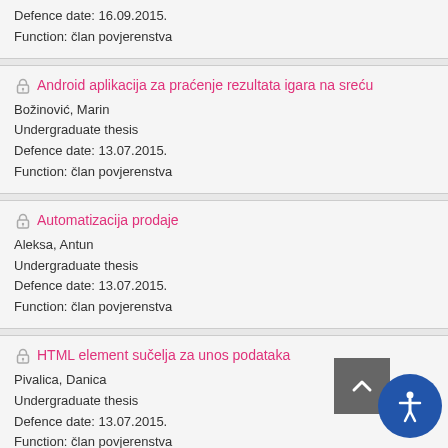Defence date: 16.09.2015.
Function: član povjerenstva
Android aplikacija za praćenje rezultata igara na sreću
Božinović, Marin
Undergraduate thesis
Defence date: 13.07.2015.
Function: član povjerenstva
Automatizacija prodaje
Aleksa, Antun
Undergraduate thesis
Defence date: 13.07.2015.
Function: član povjerenstva
HTML element sučelja za unos podataka
Pivalica, Danica
Undergraduate thesis
Defence date: 13.07.2015.
Function: član povjerenstva
Mobilna aplikacija za dojavu i upravljanje programskim pogreškama
Gočok, David